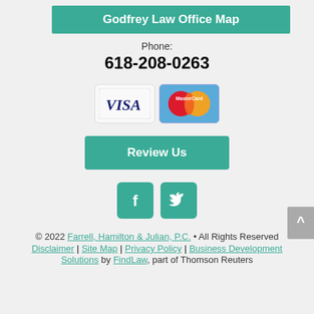Godfrey Law Office Map
Phone:
618-208-0263
[Figure (infographic): Visa and MasterCard payment icons side by side]
Review Us
[Figure (infographic): Facebook and Twitter social media icon buttons in teal]
© 2022 Farrell, Hamilton & Julian, P.C. • All Rights Reserved Disclaimer | Site Map | Privacy Policy | Business Development Solutions by FindLaw, part of Thomson Reuters